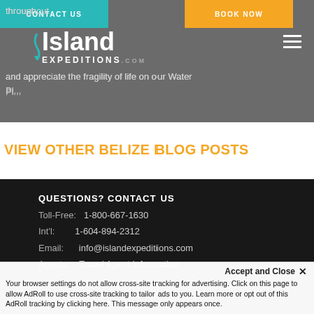CONTACT US | BOOK NOW | Island Expeditions
throughout ... help ... stand and appreciate the fragility of life on our Water Pl...
VIEW OTHER BELIZE BLOG POSTS
QUESTIONS? CONTACT US
Toll-Free: 1-800-667-1630
Int'l: 1-604-894-2312
Email: info@islandexpeditions.com
Agents: Travel Agent Information
CONNECT WITH US
Accept and Close ×
Your browser settings do not allow cross-site tracking for advertising. Click on this page to allow AdRoll to use cross-site tracking to tailor ads to you. Learn more or opt out of this AdRoll tracking by clicking here. This message only appears once.